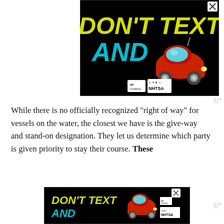[Figure (infographic): Ad Council / NHTSA 'Don't Text and Drive' advertisement on black background. Yellow bold text 'DON'T TEXT' on top, cyan bold text 'AND' with red car emoji below, Ad Council and NHTSA logos at bottom.]
While there is no officially recognized “right of way” for vessels on the water, the closest we have is the give-way and stand-on designation. They let us determine which party is given priority to stay their course. These
[Figure (infographic): Smaller Ad Council / NHTSA 'Don't Text and Drive' advertisement at bottom of page, partially visible. Black background with yellow 'DON'T TEXT' text, cyan 'AND', red car, and Ad Council/NHTSA logos. Close button (X) visible.]
terr... ons... han me... ntopriats